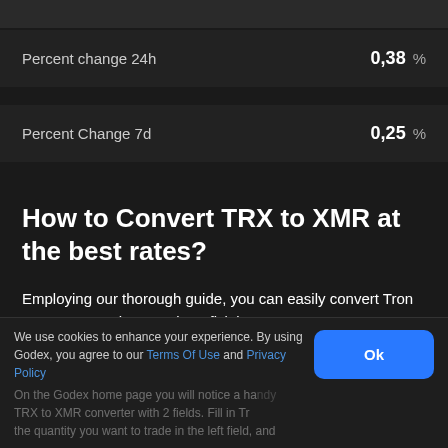| Metric | Value |
| --- | --- |
| Percent change 24h | 0,38 % |
| Percent Change 7d | 0,25 % |
How to Convert TRX to XMR at the best rates?
Employing our thorough guide, you can easily convert Tron to Monero on the most beneficial terms.
We use cookies to enhance your experience. By using Godex, you agree to our Terms Of Use and Privacy Policy
On the Godex home page you will notice a handy TRX to XMR converter with 2 fields. Fill in Tr the quantity you want to trade in the left field, and Monero in the right.